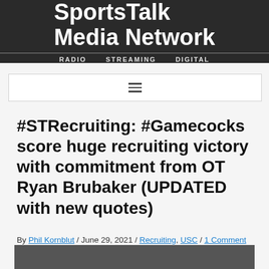SportsTalk Media Network — RADIO  STREAMING  DIGITAL
[Figure (logo): SportsTalk Media Network banner logo on dark background with RADIO, STREAMING, DIGITAL labels]
[Figure (screenshot): hamburger menu icon in a bordered white box]
#STRecruiting: #Gamecocks score huge recruiting victory with commitment from OT Ryan Brubaker (UPDATED with new quotes)
By Phil Kornblut / June 29, 2021 / Recruiting, USC / 1 Comment
[Figure (photo): Partial photo at bottom of page]